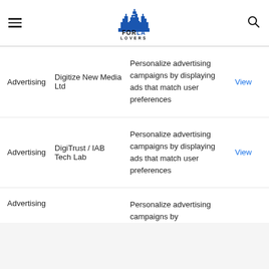FOR LA LOVERS (logo with hamburger menu and search icon)
| Category | Name | Description |  |
| --- | --- | --- | --- |
| Advertising | Digitize New Media Ltd | Personalize advertising campaigns by displaying ads that match user preferences | View |
| Advertising | DigiTrust / IAB Tech Lab | Personalize advertising campaigns by displaying ads that match user preferences | View |
| Advertising | (partially visible) | Personalize advertising campaigns by |  |